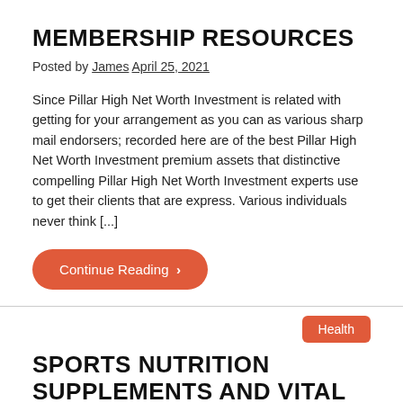MEMBERSHIP RESOURCES
Posted by James April 25, 2021
Since Pillar High Net Worth Investment is related with getting for your arrangement as you can as various sharp mail endorsers; recorded here are of the best Pillar High Net Worth Investment premium assets that distinctive compelling Pillar High Net Worth Investment experts use to get their clients that are express. Various individuals never think [...]
Continue Reading ›
Health
SPORTS NUTRITION SUPPLEMENTS AND VITAL